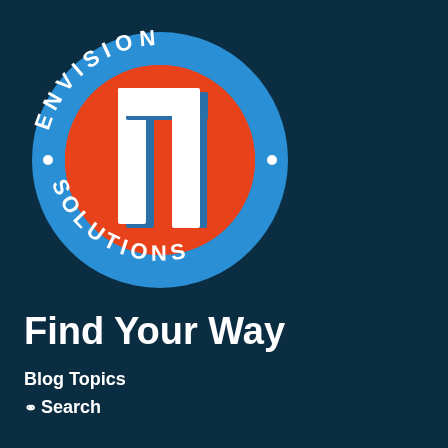[Figure (logo): Envision IT Solutions circular logo: blue outer ring with white text 'ENVISION' on top arc and 'SOLUTIONS' on bottom arc with dots, orange inner circle, white bold 3D letters 'IT' in center with blue shadow effect]
Find Your Way
Blog Topics
Search